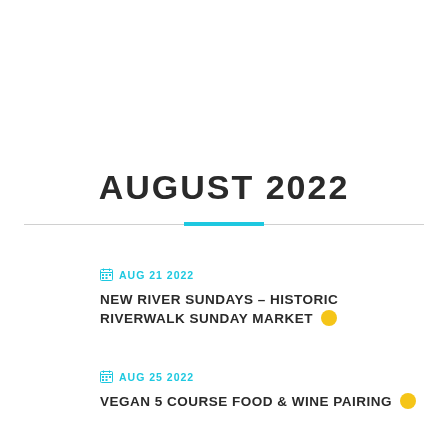AUGUST 2022
AUG 21 2022 — NEW RIVER SUNDAYS – HISTORIC RIVERWALK SUNDAY MARKET
AUG 25 2022 — VEGAN 5 COURSE FOOD & WINE PAIRING